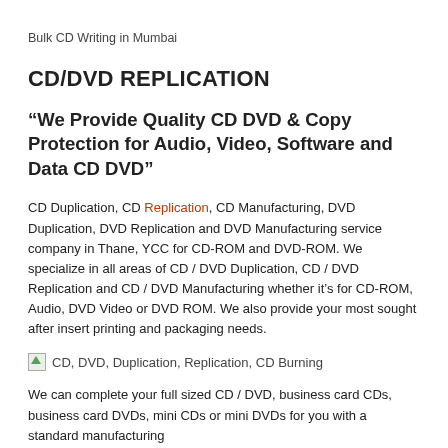Bulk CD Writing in Mumbai
CD/DVD REPLICATION
“We Provide Quality CD DVD & Copy Protection for Audio, Video, Software and Data CD DVD”
CD Duplication, CD Replication, CD Manufacturing, DVD Duplication, DVD Replication and DVD Manufacturing service company in Thane, YCC for CD-ROM and DVD-ROM. We specialize in all areas of CD / DVD Duplication, CD / DVD Replication and CD / DVD Manufacturing whether it’s for CD-ROM, Audio, DVD Video or DVD ROM. We also provide your most sought after insert printing and packaging needs.
[Figure (other): CD, DVD, Duplication, Replication, CD Burning image placeholder]
We can complete your full sized CD / DVD, business card CDs, business card DVDs, mini CDs or mini DVDs for you with a standard manufacturing